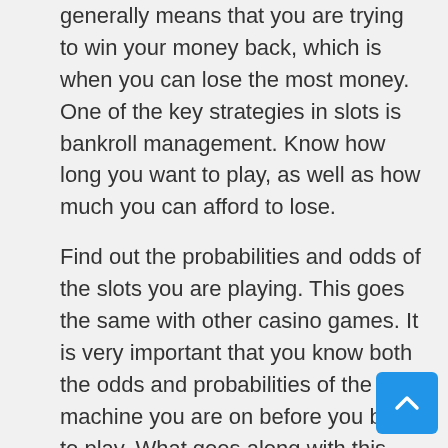generally means that you are trying to win your money back, which is when you can lose the most money. One of the key strategies in slots is bankroll management. Know how long you want to play, as well as how much you can afford to lose.
Find out the probabilities and odds of the slots you are playing. This goes the same with other casino games. It is very important that you know both the odds and probabilities of the slot machine you are on before you being to play. What goes along with this slot's strategy https://losjuegosdelcasino.com/ is that you should know the online slot machine game you are playing. You should never begin playing on a machine if you are not aware of